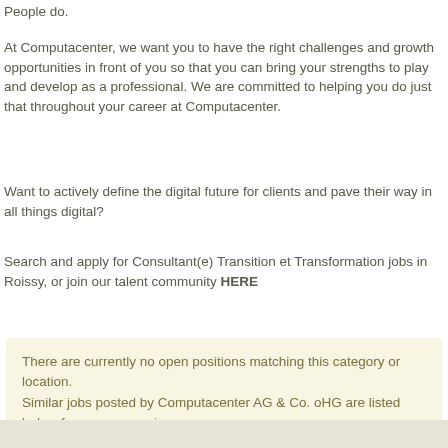People do.
At Computacenter, we want you to have the right challenges and growth opportunities in front of you so that you can bring your strengths to play and develop as a professional. We are committed to helping you do just that throughout your career at Computacenter.
Want to actively define the digital future for clients and pave their way in all things digital?
Search and apply for Consultant(e) Transition et Transformation jobs in Roissy, or join our talent community HERE
There are currently no open positions matching this category or location.
Similar jobs posted by Computacenter AG & Co. oHG are listed below for your convenience.